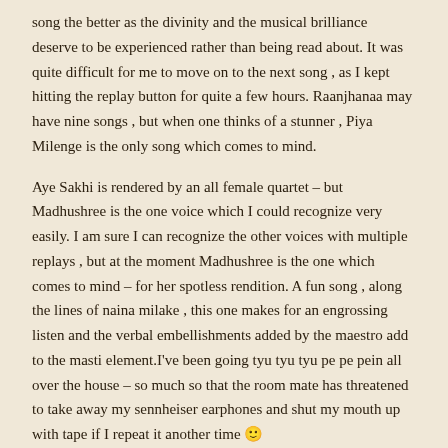song the better as the divinity and the musical brilliance deserve to be experienced rather than being read about. It was quite difficult for me to move on to the next song , as I kept hitting the replay button for quite a few hours. Raanjhanaa may have nine songs , but when one thinks of a stunner , Piya Milenge is the only song which comes to mind.
Aye Sakhi is rendered by an all female quartet – but Madhushree is the one voice which I could recognize very easily. I am sure I can recognize the other voices with multiple replays , but at the moment Madhushree is the one which comes to mind – for her spotless rendition. A fun song , along the lines of naina milake , this one makes for an engrossing listen and the verbal embellishments added by the maestro add to the masti element.I've been going tyu tyu tyu pe pe pein all over the house – so much so that the room mate has threatened to take away my sennheiser earphones and shut my mouth up with tape if I repeat it another time 🙂
Nazar Laaye sounds like a left over from Jhoota hi Sahi at the first listen . Is it because of Rashid Ali's fluid vocals ? I am not sure and I do not want to take that road. Nevertheless , the song grows on you – thanks to Neeti Mohan , Rashid and the guitars ( Kebah Jeremiah – am not sure on this